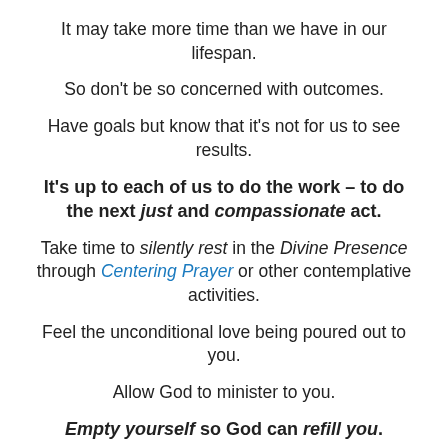It may take more time than we have in our lifespan.
So don’t be so concerned with outcomes.
Have goals but know that it’s not for us to see results.
It’s up to each of us to do the work – to do the next just and compassionate act.
Take time to silently rest in the Divine Presence through Centering Prayer or other contemplative activities.
Feel the unconditional love being poured out to you.
Allow God to minister to you.
Empty yourself so God can refill you.
Know that you are God’s beloved child…with whom